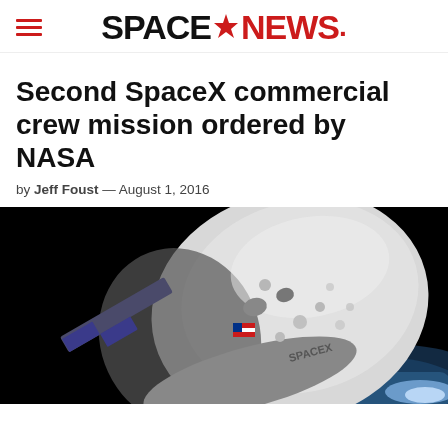SPACENEWS
Second SpaceX commercial crew mission ordered by NASA
by Jeff Foust — August 1, 2016
[Figure (photo): SpaceX Dragon crew capsule in space with Earth visible in background and solar panels extended, SpaceX logo visible on capsule surface]